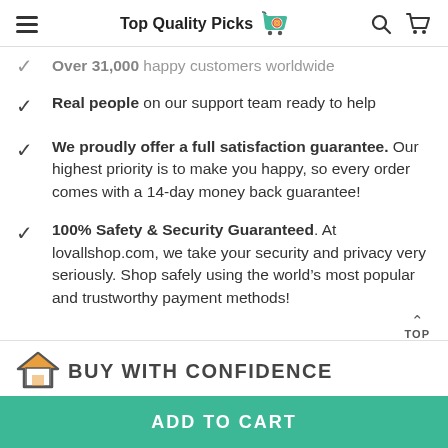Top Quality Picks
Over 31,000 happy customers worldwide
Real people on our support team ready to help
We proudly offer a full satisfaction guarantee. Our highest priority is to make you happy, so every order comes with a 14-day money back guarantee!
100% Safety & Security Guaranteed. At lovallshop.com, we take your security and privacy very seriously. Shop safely using the world’s most popular and trustworthy payment methods!
BUY WITH CONFIDENCE
ADD TO CART